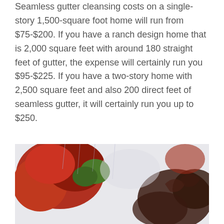Seamless gutter cleansing costs on a single-story 1,500-square foot home will run from $75-$200. If you have a ranch design home that is 2,000 square feet with around 180 straight feet of gutter, the expense will certainly run you $95-$225. If you have a two-story home with 2,500 square feet and also 200 direct feet of seamless gutter, it will certainly run you up to $250.
[Figure (photo): Photo of red autumn maple leaves with blurred dark leaf silhouette in the foreground right, against a light sky background. Likely illustrating seasonal gutter clogging context.]